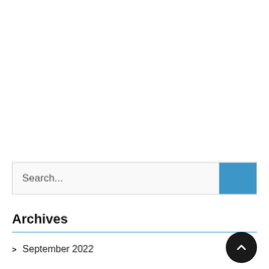[Figure (screenshot): Search bar with text input area showing 'Search...' placeholder and a blue search button on the right]
Archives
> September 2022